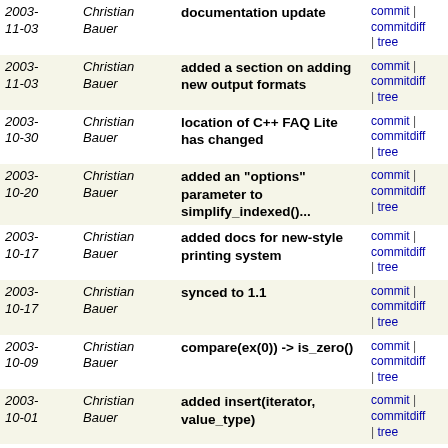| Date | Author | Message | Links |
| --- | --- | --- | --- |
| 2003-11-03 | Christian Bauer | documentation update | commit | commitdiff | tree |
| 2003-11-03 | Christian Bauer | added a section on adding new output formats | commit | commitdiff | tree |
| 2003-10-30 | Christian Bauer | location of C++ FAQ Lite has changed | commit | commitdiff | tree |
| 2003-10-20 | Christian Bauer | added an "options" parameter to simplify_indexed()... | commit | commitdiff | tree |
| 2003-10-17 | Christian Bauer | added docs for new-style printing system | commit | commitdiff | tree |
| 2003-10-17 | Christian Bauer | synced to 1.1 | commit | commitdiff | tree |
| 2003-10-09 | Christian Bauer | compare(ex(0)) -> is_zero() | commit | commitdiff | tree |
| 2003-10-01 | Christian Bauer | added insert(iterator, value_type) | commit | commitdiff | tree |
| 2003-09-30 | Christian Bauer | Implemented the Blitz++ trick to allow the initialization... | commit | commitdiff | tree |
| 2003-09-29 | Christian Bauer | parallel build uses NCPU jobs instead of NCPU+1 | commit | commitdiff | tree |
| 2003-09-18 | Christian Bauer | tidied up ex::subs() | commit | commitdiff | tree |
| 2003-09-05 | Christian Bauer | Improved the pre-/postorder iterators: They visit the... | commit | commitdiff | tree |
| 2003-09-04 | Christian Bauer | added a note about expressions in STL containers | commit | commitdiff | tree |
| 2003- | Christian | mention the subs(exmap &) form | commit | commitdiff |